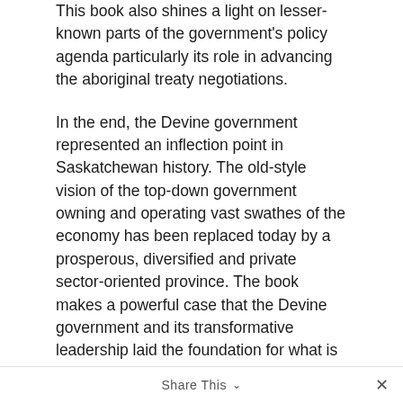This book also shines a light on lesser-known parts of the government's policy agenda particularly its role in advancing the aboriginal treaty negotiations.
In the end, the Devine government represented an inflection point in Saskatchewan history. The old-style vision of the top-down government owning and operating vast swathes of the economy has been replaced today by a prosperous, diversified and private sector-oriented province. The book makes a powerful case that the Devine government and its transformative leadership laid the foundation for what is now, one of Canada's strongest provincial economies and standards of living.
To purchase this book, visit the Frontier Centre for Public Policy website: www.fcpp.org.
The Frontier Centre for Public Policy is an independent, non-profit think tank that undertakes research and education in support of economic growth and social outcomes that will enhance the quality of life in our